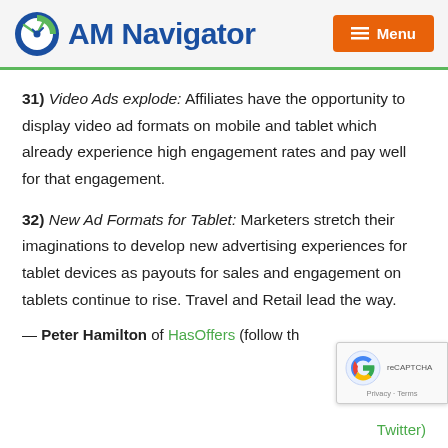AM Navigator — Menu
31) Video Ads explode: Affiliates have the opportunity to display video ad formats on mobile and tablet which already experience high engagement rates and pay well for that engagement.
32) New Ad Formats for Tablet: Marketers stretch their imaginations to develop new advertising experiences for tablet devices as payouts for sales and engagement on tablets continue to rise. Travel and Retail lead the way.
— Peter Hamilton of HasOffers (follow th... Twitter)